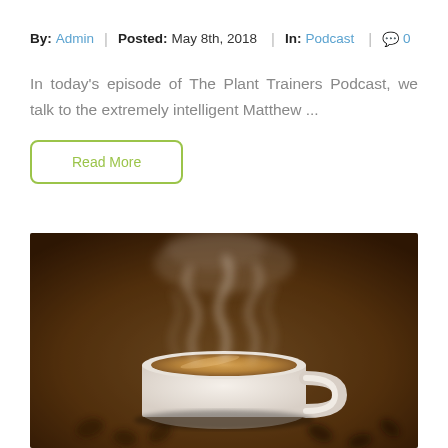By: Admin | Posted: May 8th, 2018 | In: Podcast | 0
In today's episode of The Plant Trainers Podcast, we talk to the extremely intelligent Matthew ...
Read More
[Figure (photo): A steaming white coffee mug filled with hot beverage, with visible steam rising, placed on coffee beans against a warm brown background.]